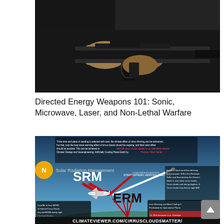[Figure (photo): Close-up photo of a person in dark clothing holding a black directed energy weapon / rifle-like device]
Directed Energy Weapons 101: Sonic, Microwave, Laser, and Non-Lethal Warfare
[Figure (infographic): Infographic from climateviewer.com/cirruscloudsmatter/ showing Solar Radiation Management (SRM) and Enhanced Radiation Management (ERM) diagrams with an airplane emitting trails, red arrows, and text about stratospheric aerosol injection and cirrus cloud formation. Bottom banner reads CLIMATEVIEWER.COM/CIRRUSCLOUDSMATTER/]